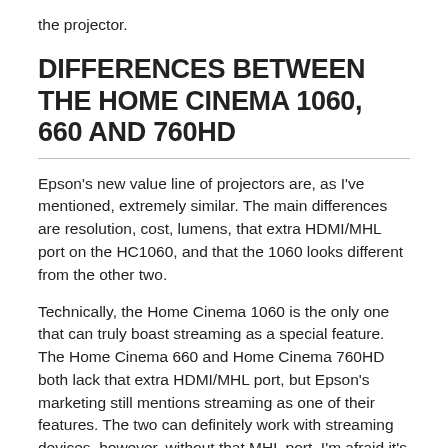the projector.
DIFFERENCES BETWEEN THE HOME CINEMA 1060, 660 AND 760HD
Epson's new value line of projectors are, as I've mentioned, extremely similar. The main differences are resolution, cost, lumens, that extra HDMI/MHL port on the HC1060, and that the 1060 looks different from the other two.
Technically, the Home Cinema 1060 is the only one that can truly boast streaming as a special feature. The Home Cinema 660 and Home Cinema 760HD both lack that extra HDMI/MHL port, but Epson's marketing still mentions streaming as one of their features. The two can definitely work with streaming devices, however, without that MHL port, I'm afraid it's just hype. To be clear – all three models will work with your PlayStation, Xbox, the streaming devices mentioned in the